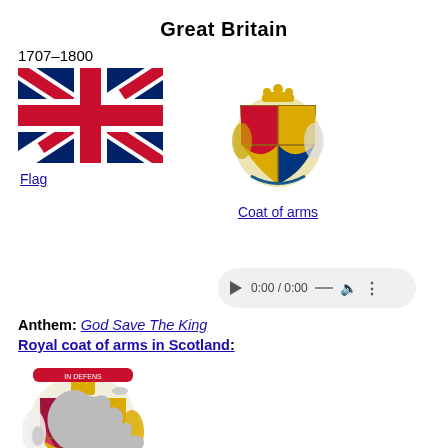Great Britain
1707–1800
[Figure (illustration): Union Jack flag of Great Britain (blue background with red and white cross and diagonal stripes)]
Flag
[Figure (illustration): Royal Coat of Arms of Great Britain featuring lions, unicorn, shield with quartered arms, crown on top, in gold and colors]
Coat of arms
[Figure (other): Audio player bar showing 0:00 / 0:00 with play button, volume, and menu controls]
Anthem: God Save The King
Royal coat of arms in Scotland:
[Figure (illustration): Royal coat of arms in Scotland featuring lion rampant, unicorn, Scottish heraldic elements, with IN DEFENS motto banner, colorful heraldic design]
[Figure (map): Greyed-out map of Great Britain and surrounding islands]